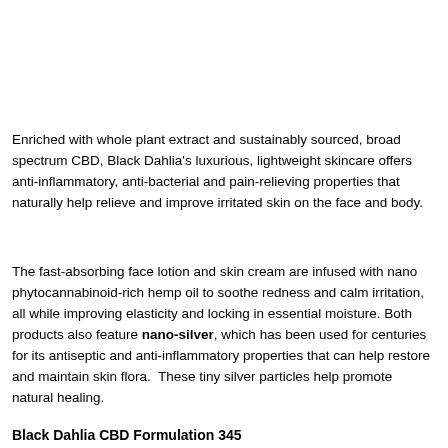Enriched with whole plant extract and sustainably sourced, broad spectrum CBD, Black Dahlia's luxurious, lightweight skincare offers anti-inflammatory, anti-bacterial and pain-relieving properties that naturally help relieve and improve irritated skin on the face and body.
The fast-absorbing face lotion and skin cream are infused with nano phytocannabinoid-rich hemp oil to soothe redness and calm irritation, all while improving elasticity and locking in essential moisture. Both products also feature nano-silver, which has been used for centuries for its antiseptic and anti-inflammatory properties that can help restore and maintain skin flora.  These tiny silver particles help promote natural healing.
Black Dahlia CBD Formulation 345